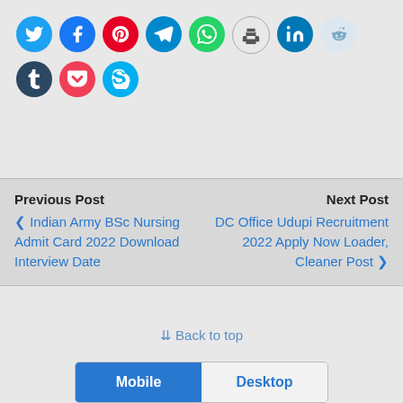[Figure (infographic): Row of social media sharing icon circles: Twitter, Facebook, Pinterest, Telegram, WhatsApp, Print, LinkedIn, Reddit, Tumblr, Pocket, Skype]
Previous Post
❮ Indian Army BSc Nursing Admit Card 2022 Download Interview Date
Next Post
DC Office Udupi Recruitment 2022 Apply Now Loader, Cleaner Post ❯
⇪ Back to top
Mobile   Desktop